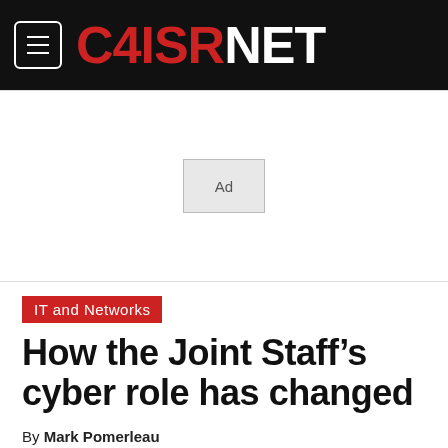C4ISRNET
[Figure (other): Ad placeholder box]
IT and Networks
How the Joint Staff’s cyber role has changed
By Mark Pomerleau
Dec 12, 2018